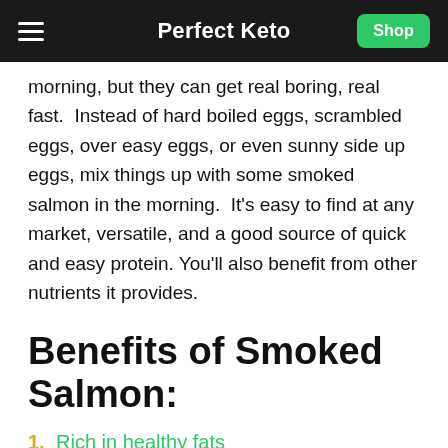Perfect Keto
morning, but they can get real boring, real fast.  Instead of hard boiled eggs, scrambled eggs, over easy eggs, or even sunny side up eggs, mix things up with some smoked salmon in the morning.  It's easy to find at any market, versatile, and a good source of quick and easy protein. You'll also benefit from other nutrients it provides.
Benefits of Smoked Salmon:
1.  Rich in healthy fats